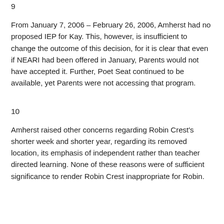9
From January 7, 2006 – February 26, 2006, Amherst had no proposed IEP for Kay. This, however, is insufficient to change the outcome of this decision, for it is clear that even if NEARI had been offered in January, Parents would not have accepted it. Further, Poet Seat continued to be available, yet Parents were not accessing that program.
10
Amherst raised other concerns regarding Robin Crest's shorter week and shorter year, regarding its removed location, its emphasis of independent rather than teacher directed learning. None of these reasons were of sufficient significance to render Robin Crest inappropriate for Robin.